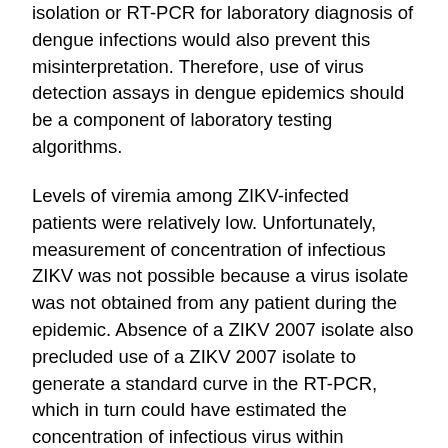isolation or RT-PCR for laboratory diagnosis of dengue infections would also prevent this misinterpretation. Therefore, use of virus detection assays in dengue epidemics should be a component of laboratory testing algorithms.
Levels of viremia among ZIKV-infected patients were relatively low. Unfortunately, measurement of concentration of infectious ZIKV was not possible because a virus isolate was not obtained from any patient during the epidemic. Absence of a ZIKV 2007 isolate also precluded use of a ZIKV 2007 isolate to generate a standard curve in the RT-PCR, which in turn could have estimated the concentration of infectious virus within patients. An estimation of the number of genome copies circulating in ZIKV-infected patients was calculated by using an RNA transcript and provides some indication of infectious virus concentration in ZIKV-infected patients. If